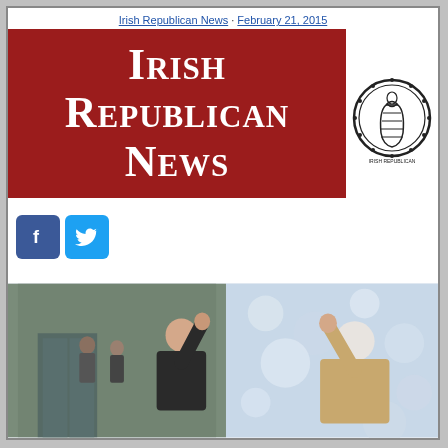Irish Republican News · February 21, 2015
Irish Republican News
[Figure (logo): Irish Republican seal/emblem, circular black and white medallion with harp figure]
[Figure (logo): Facebook icon (blue square with white f) and Twitter icon (blue square with white bird)]
'We let them rot in Cricklewood'
[Figure (photo): Two elderly people seen from behind, raising their hands toward a glass building facade with bokeh lights]